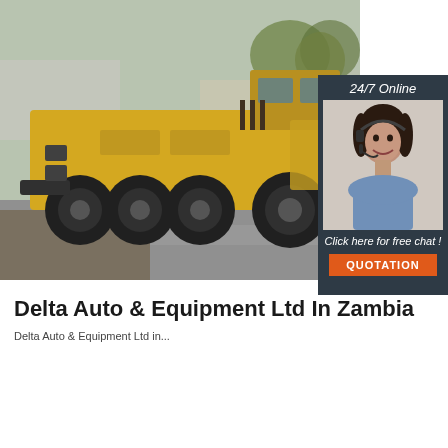[Figure (photo): Yellow road roller/compactor machine parked outdoors with other heavy equipment in background. An overlay panel on the right shows a customer service agent with headset, '24/7 Online' text, 'Click here for free chat!' text, and an orange 'QUOTATION' button on a dark navy background.]
Delta Auto & Equipment Ltd In Zambia
Delta Auto & Equipment Ltd in...